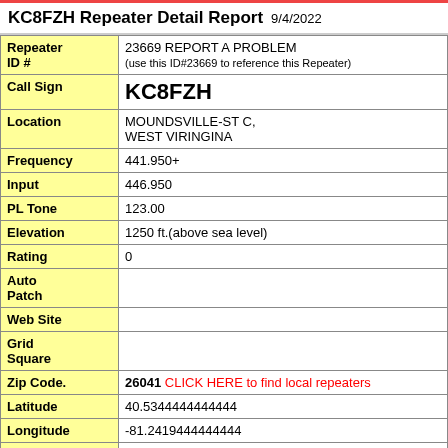KC8FZH Repeater Detail Report  9/4/2022
| Field | Value |
| --- | --- |
| Repeater ID # | 23669 REPORT A PROBLEM (use this ID#23669 to reference this Repeater) |
| Call Sign | KC8FZH |
| Location | MOUNDSVILLE-ST C, WEST VIRINGINA |
| Frequency | 441.950+ |
| Input | 446.950 |
| PL Tone | 123.00 |
| Elevation | 1250 ft.(above sea level) |
| Rating | 0 |
| Auto Patch |  |
| Web Site |  |
| Grid Square |  |
| Zip Code. | 26041 CLICK HERE to find local repeaters |
| Latitude | 40.5344444444444 |
| Longitude | -81.2419444444444 |
| Map | map |
|  | PART OF THE KC8FZH |